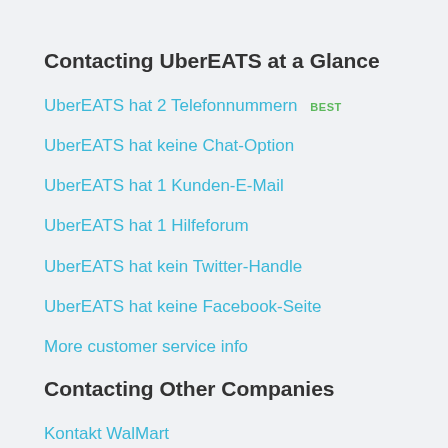Contacting UberEATS at a Glance
UberEATS hat 2 Telefonnummern  BEST
UberEATS hat keine Chat-Option
UberEATS hat 1 Kunden-E-Mail
UberEATS hat 1 Hilfeforum
UberEATS hat kein Twitter-Handle
UberEATS hat keine Facebook-Seite
More customer service info
Contacting Other Companies
Kontakt WalMart